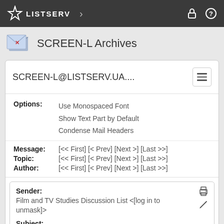LISTSERV
SCREEN-L Archives
SCREEN-L@LISTSERV.UA....
Options: Use Monospaced Font  Show Text Part by Default  Condense Mail Headers
Message: [<< First] [< Prev] [Next >] [Last >>]
Topic: [<< First] [< Prev] [Next >] [Last >>]
Author: [<< First] [< Prev] [Next >] [Last >>]
Sender: Film and TV Studies Discussion List <[log in to unmask]>
Subject: Blair Witch Call for Papers
From: "Sarah L. Higley" <[log in to unmask]>